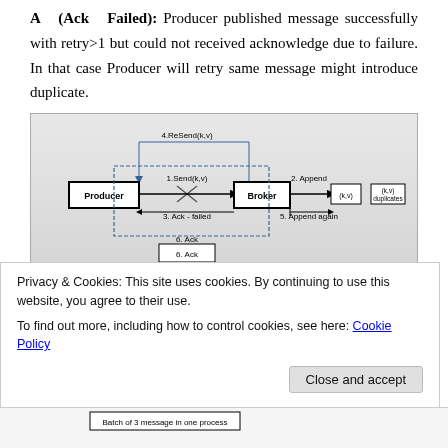A (Ack Failed): Producer published message successfully with retry>1 but could not received acknowledge due to failure. In that case Producer will retry same message might introduce duplicate.
[Figure (flowchart): Diagram showing Producer sending message to Broker. Steps: 4.ReSend(k,v) arrow goes back; 1.Send(k,v) with X cross; Producer box connected to Broker box; 2.Append arrow to (k,v); (k,v) duplicates box; 3.Ack-failed label; 5.Append again arrow; 6.Ack label.]
B (Producer process failed in batch messages): Producer sending batch of messages it failed
Privacy & Cookies: This site uses cookies. By continuing to use this website, you agree to their use.
To find out more, including how to control cookies, see here: Cookie Policy
[Figure (flowchart): Bottom strip showing partial diagram with label 'Batch of 3 message in one process']